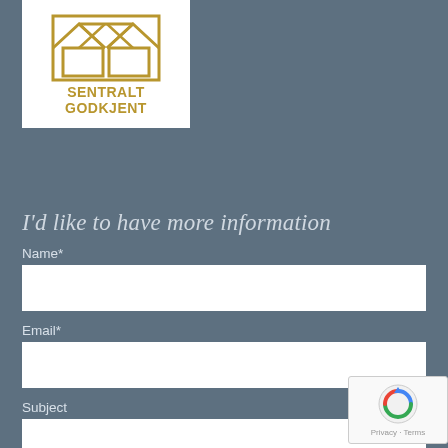[Figure (logo): Sentralt Godkjent logo — geometric building/envelope shape in gold lines on white background with text SENTRALT GODKJENT in gold bold capitals]
I'd like to have more information
Name*
Email*
Subject
[Figure (other): reCAPTCHA badge with circular arrow icon and Privacy · Terms text]